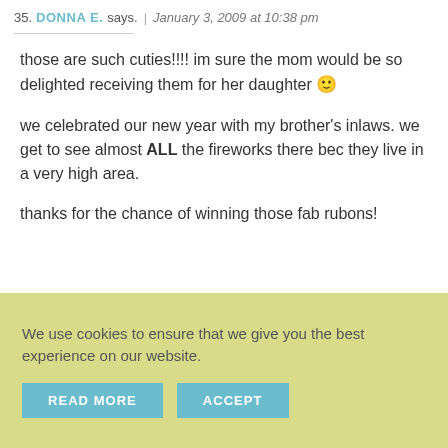35. DONNA E. says. | January 3, 2009 at 10:38 pm
those are such cuties!!!! im sure the mom would be so delighted receiving them for her daughter 🙂

we celebrated our new year with my brother's inlaws. we get to see almost ALL the fireworks there bec they live in a very high area.

thanks for the chance of winning those fab rubons!
We use cookies to ensure that we give you the best experience on our website.